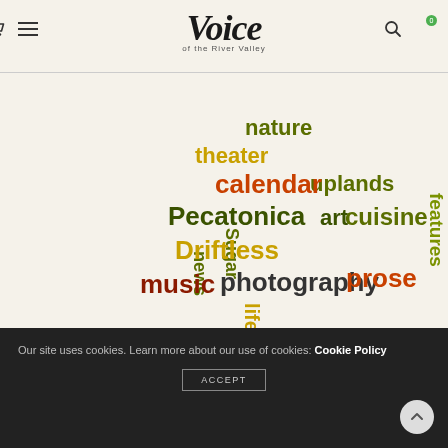Voice of the River Valley
[Figure (infographic): Word cloud containing terms: nature, theater, calendar, poems, features, Wisconsin, uplands, Sugar, Pecatonica, art, cuisine, news, Driftless, photography, life, columns, community, prose, river, music — in various colors (dark olive green, red-orange, gold/yellow, olive) and sizes arranged in an artistic cloud layout.]
Our site uses cookies. Learn more about our use of cookies: Cookie Policy ACCEPT